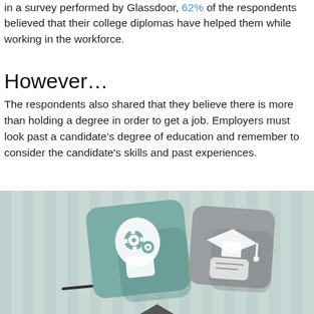in a survey performed by Glassdoor, 62% of the respondents believed that their college diplomas have helped them while working in the workforce.
However…
The respondents also shared that they believe there is more than holding a degree in order to get a job.  Employers must look past a candidate's degree of education and remember to consider the candidate's skills and past experiences.
[Figure (illustration): A balance scale illustration showing skills (head with gears icon on teal background) outweighing education (graduation cap icon on gray background), set against a light teal striped background. The skills side is lower, indicating it carries more weight.]